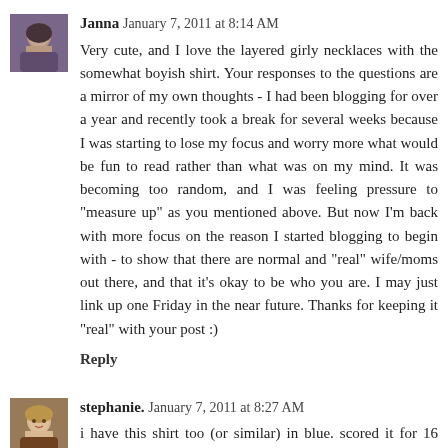[Figure (photo): Small square avatar photo of Janna, a woman with dark hair wearing a purple scarf]
Janna January 7, 2011 at 8:14 AM
Very cute, and I love the layered girly necklaces with the somewhat boyish shirt. Your responses to the questions are a mirror of my own thoughts - I had been blogging for over a year and recently took a break for several weeks because I was starting to lose my focus and worry more what would be fun to read rather than what was on my mind. It was becoming too random, and I was feeling pressure to "measure up" as you mentioned above. But now I'm back with more focus on the reason I started blogging to begin with - to show that there are normal and "real" wife/moms out there, and that it's okay to be who you are. I may just link up one Friday in the near future. Thanks for keeping it "real" with your post :)
Reply
[Figure (photo): Small square avatar photo of stephanie., a blonde woman smiling]
stephanie. January 7, 2011 at 8:27 AM
i have this shirt too (or similar) in blue. scored it for 16 bucks on super sale in the men's section. love. looks fabulous on you of course.